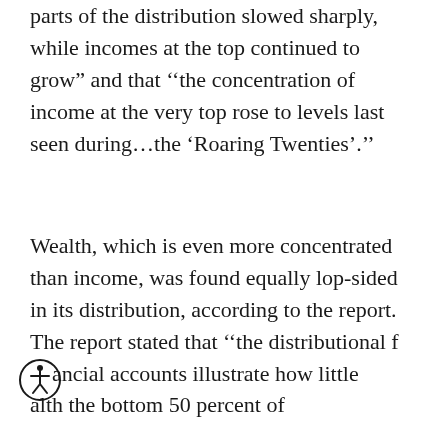parts of the distribution slowed sharply, while incomes at the top continued to grow” and that ‘‘the concentration of income at the very top rose to levels last seen during…the ‘Roaring Twenties’.’’
Wealth, which is even more concentrated than income, was found equally lop-sided in its distribution, according to the report. The report stated that ‘‘the distributional financial accounts illustrate how little wealth the bottom 50 percent of